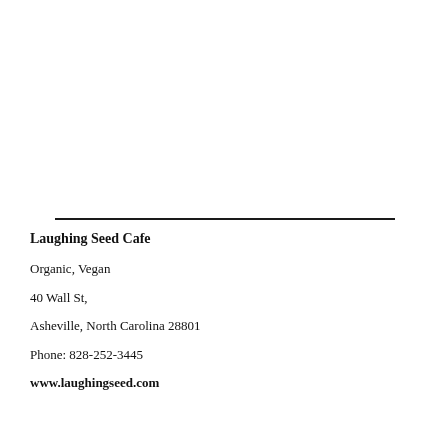Laughing Seed Cafe
Organic, Vegan
40 Wall St,
Asheville, North Carolina 28801
Phone: 828-252-3445
www.laughingseed.com